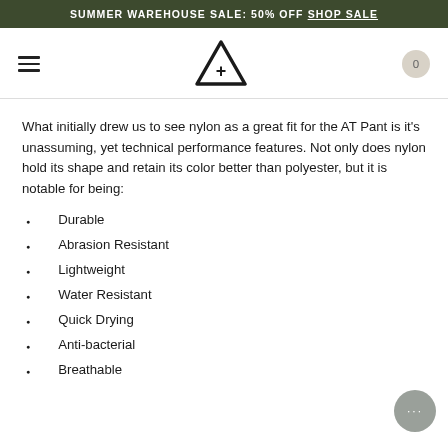SUMMER WAREHOUSE SALE: 50% OFF SHOP SALE
[Figure (logo): Navigation bar with hamburger menu, triangle plus logo, and cart circle showing 0]
What initially drew us to see nylon as a great fit for the AT Pant is it's unassuming, yet technical performance features. Not only does nylon hold its shape and retain its color better than polyester, but it is notable for being:
Durable
Abrasion Resistant
Lightweight
Water Resistant
Quick Drying
Anti-bacterial
Breathable